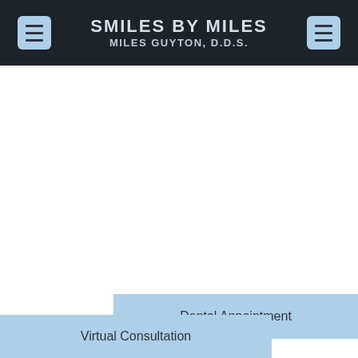SMILES BY MILES
MILES GUYTON, D.D.S.
Dental Appointment
Virtual Consultation